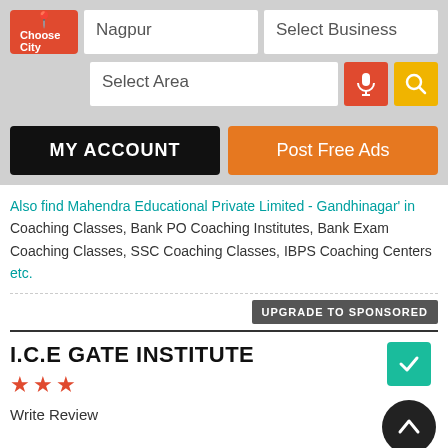[Figure (screenshot): Mobile app UI screenshot showing city selector with 'Choose City' button, Nagpur city input, 'Select Business' input, 'Select Area' input with mic and search icons, MY ACCOUNT and Post Free Ads buttons]
Also find Mahendra Educational Private Limited - Gandhinagar' in Coaching Classes, Bank PO Coaching Institutes, Bank Exam Coaching Classes, SSC Coaching Classes, IBPS Coaching Centers etc.
UPGRADE TO SPONSORED
I.C.E GATE INSTITUTE
Write Review
1, Khare Town, Behind Punit Super Bazaar, Near